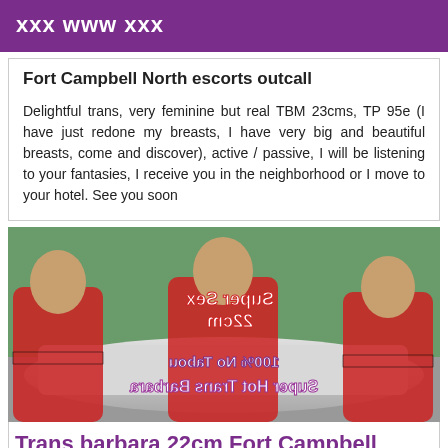xxx www xxx
Fort Campbell North escorts outcall
Delightful trans, very feminine but real TBM 23cms, TP 95e (I have just redone my breasts, I have very big and beautiful breasts, come and discover), active / passive, I will be listening to your fantasies, I receive you in the neighborhood or I move to your hotel. See you soon
[Figure (photo): Advertisement image showing women in red racing outfits leaning against a car, with mirrored text overlays reading 'Super Sex 22cm', '100% No Tabou', and 'Super Hot Trans Barbara']
Trans barbara 22cm Fort Campbell North 5th 100% real
Fort Campbell North trans escort side...